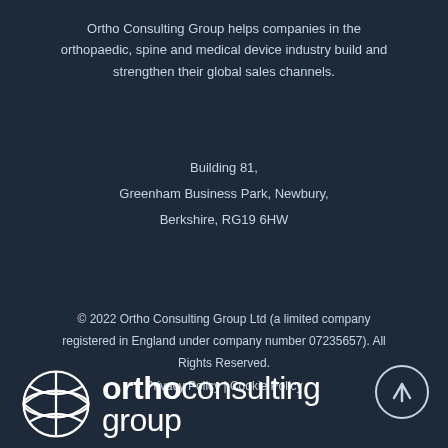Ortho Consulting Group helps companies in the orthopaedic, spine and medical device industry build and strengthen their global sales channels.
Building 81,
Greenham Business Park, Newbury,
Berkshire, RG19 6HW
© 2022 Ortho Consulting Group Ltd (a limited company registered in England under company number 07235657). All Rights Reserved.
Privacy Policy | Cookie Policy
[Figure (logo): Ortho Consulting Group logo: globe-like circular icon with white curved lines on dark background, followed by wordmark 'orthoconsulting group' in white sans-serif. An arrow-up circle icon appears top-right of the logo area.]